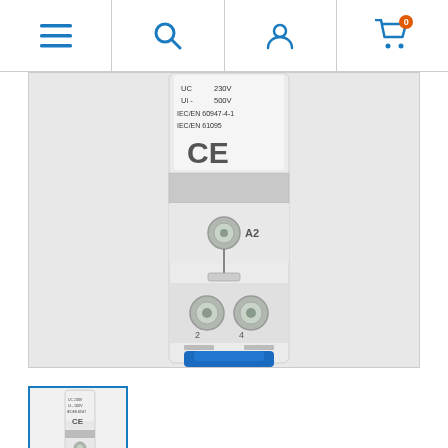Navigation bar with menu, search, user, and cart icons
[Figure (photo): Close-up photo of an electrical contactor/relay device showing the bottom terminals. The device is white/grey plastic with screw terminals labeled A2, 2, and 4. The label reads: UC 230V, Ui - 500V, IEC/EN 60947-4-1, IEC/EN 61095, CE mark. A blue DIN rail clip is visible at the bottom.]
[Figure (photo): Thumbnail image of the same electrical contactor device, showing full front view of the white module mounted on DIN rail with blue clip.]